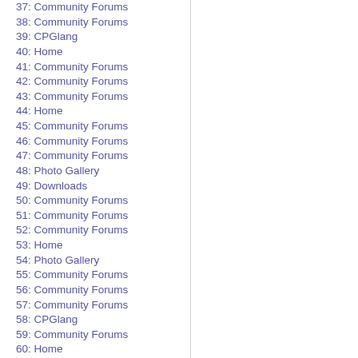37: Community Forums
38: Community Forums
39: CPGlang
40: Home
41: Community Forums
42: Community Forums
43: Community Forums
44: Home
45: Community Forums
46: Community Forums
47: Community Forums
48: Photo Gallery
49: Downloads
50: Community Forums
51: Community Forums
52: Community Forums
53: Home
54: Photo Gallery
55: Community Forums
56: Community Forums
57: Community Forums
58: CPGlang
59: Community Forums
60: Home
61: Community Forums